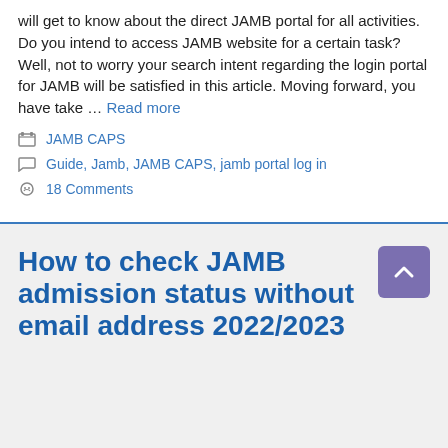will get to know about the direct JAMB portal for all activities. Do you intend to access JAMB website for a certain task? Well, not to worry your search intent regarding the login portal for JAMB will be satisfied in this article. Moving forward, you have take … Read more
Categories: JAMB CAPS
Tags: Guide, Jamb, JAMB CAPS, jamb portal log in
18 Comments
How to check JAMB admission status without email address 2022/2023